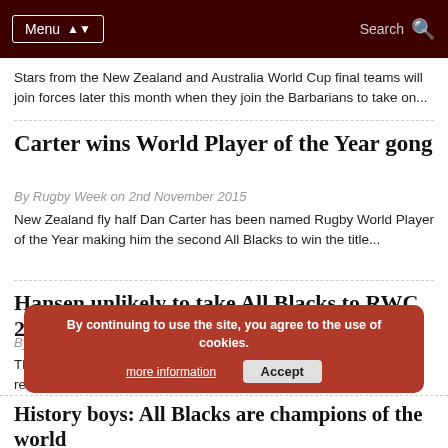Menu | Search
Stars from the New Zealand and Australia World Cup final teams will join forces later this month when they join the Barbarians to take on...
Carter wins World Player of the Year gong
By Rugby Week on 2nd November 2015
New Zealand fly half Dan Carter has been named Rugby World Player of the Year making him the second All Blacks to win the title...
Hansen unlikely to take All Blacks to RWC 2019
By Rugby Week on 1st November 2015
The All Blacks Rugby World Cup winning coach Steve Hansen has revealed that he does not want to lead New Zealand at the 2019 Rugby...
By continuing to use the site, you agree to the use of cookies. more information | Accept
History boys: All Blacks are champions of the world